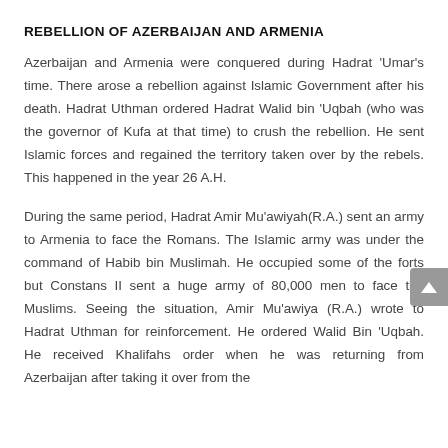REBELLION OF AZERBAIJAN AND ARMENIA
Azerbaijan and Armenia were conquered during Hadrat 'Umar's time. There arose a rebellion against Islamic Government after his death. Hadrat Uthman ordered Hadrat Walid bin 'Uqbah (who was the governor of Kufa at that time) to crush the rebellion. He sent Islamic forces and regained the territory taken over by the rebels. This happened in the year 26 A.H.
During the same period, Hadrat Amir Mu'awiyah(R.A.) sent an army to Armenia to face the Romans. The Islamic army was under the command of Habib bin Muslimah. He occupied some of the forts but Constans II sent a huge army of 80,000 men to face the Muslims. Seeing the situation, Amir Mu'awiya (R.A.) wrote to Hadrat Uthman for reinforcement. He ordered Walid Bin 'Uqbah. He received Khalifahs order when he was returning from Azerbaijan after taking it over from the